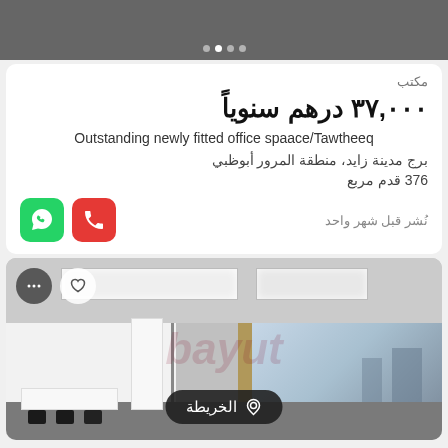[Figure (photo): Top portion of office interior photo with carousel dots indicator]
مكتب
٣٧,٠٠٠ درهم سنوياً
Outstanding newly fitted office spaace/Tawtheeq
برج مدينة زايد، منطقة المرور أبوظبي
376 قدم مربع
نُشر قبل شهر واحد
[Figure (photo): Office interior photo showing a modern fitted office with ceiling panels, desks, chairs, and floor-to-ceiling windows. Shows map button overlay and action icons.]